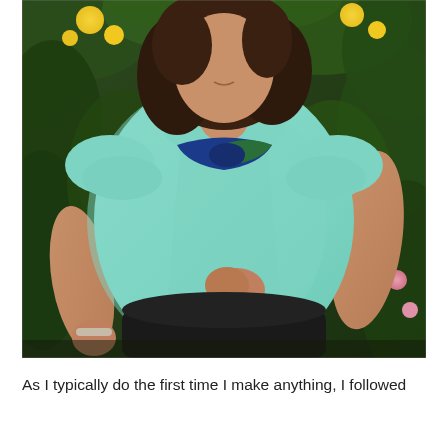[Figure (photo): A woman wearing a light mint/aqua short-sleeve t-shirt and a navy and green scarf around her neck, standing outdoors in front of green bushes with yellow and pink flowers. She has dark brown hair and is wearing a silver bracelet. She is holding her fist near her waist. The background is lush garden foliage.]
As I typically do the first time I make anything, I followed